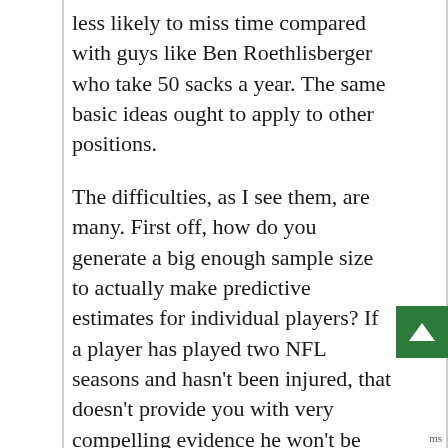less likely to miss time compared with guys like Ben Roethlisberger who take 50 sacks a year. The same basic ideas ought to apply to other positions.
The difficulties, as I see them, are many. First off, how do you generate a big enough sample size to actually make predictive estimates for individual players? If a player has played two NFL seasons and hasn't been injured, that doesn't provide you with very compelling evidence he won't be injured in year three. You also have the difficulty of quantifying things like "playing style", which is troublesome in itself. Perhaps a starting point would be to estimate injury rates on a positional basis, and work from that. Any thoughts?